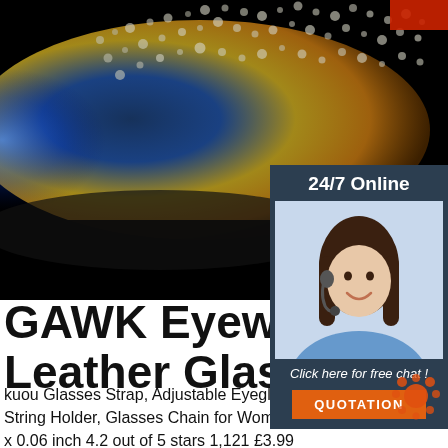[Figure (photo): Close-up photo of sunglasses lens with water droplets, colorful reflections of blue, yellow, gold on black background.]
[Figure (infographic): 24/7 Online chat widget with customer service agent photo, 'Click here for free chat!' text, and orange QUOTATION button.]
GAWK Eyewear 100% G Leather Glasses Cord
kuou Glasses Strap, Adjustable Eyeglass Cords Glasses String Holder, Glasses Chain for Women Men, PU Leather/27 x 0.06 inch 4.2 out of 5 stars 1,121 £3.99 £ 3 . 99